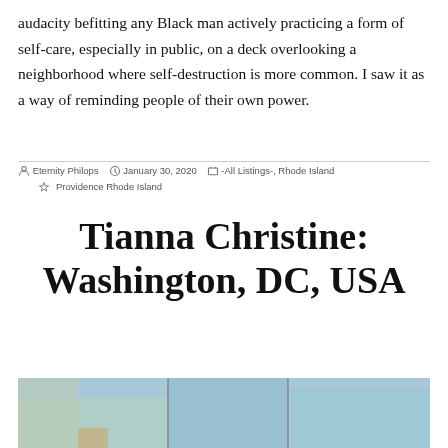audacity befitting any Black man actively practicing a form of self-care, especially in public, on a deck overlooking a neighborhood where self-destruction is more common. I saw it as a way of reminding people of their own power.
Eternity Philops  January 30, 2020  -All Listings-, Rhode Island  Providence Rhode Island
Tianna Christine: Washington, DC, USA
[Figure (photo): Bottom strip showing partial outdoor photo, appears to be a person outdoors with green trees and blue sky visible.]